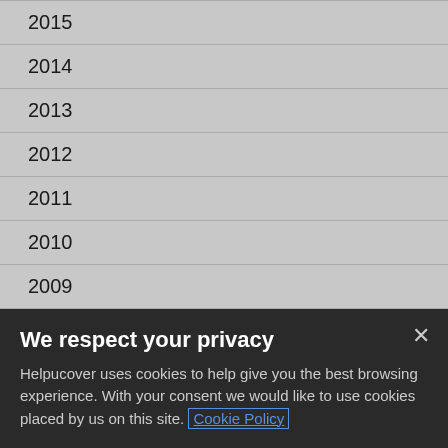2015
2014
2013
2012
2011
2010
2009
Police force to lose 900 positions
Tweet
We respect your privacy
Helpucover uses cookies to help give you the best browsing experience. With your consent we would like to use cookies placed by us on this site. Cookie Policy